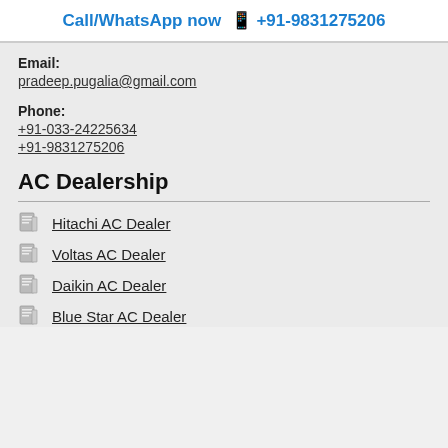Call/WhatsApp now 📱 +91-9831275206
Email:
pradeep.pugalia@gmail.com
Phone:
+91-033-24225634
+91-9831275206
AC Dealership
Hitachi AC Dealer
Voltas AC Dealer
Daikin AC Dealer
Blue Star AC Dealer